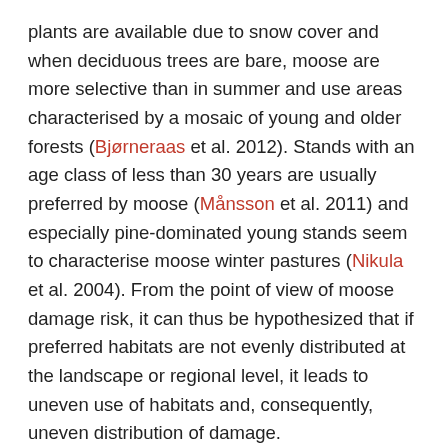plants are available due to snow cover and when deciduous trees are bare, moose are more selective than in summer and use areas characterised by a mosaic of young and older forests (Bjørneraas et al. 2012). Stands with an age class of less than 30 years are usually preferred by moose (Månsson et al. 2011) and especially pine-dominated young stands seem to characterise moose winter pastures (Nikula et al. 2004). From the point of view of moose damage risk, it can thus be hypothesized that if preferred habitats are not evenly distributed at the landscape or regional level, it leads to uneven use of habitats and, consequently, uneven distribution of damage.
Studies of moose damage at national and regional levels have shown that changes in moose populations are also reflected in changes in browsing of preferred tree species